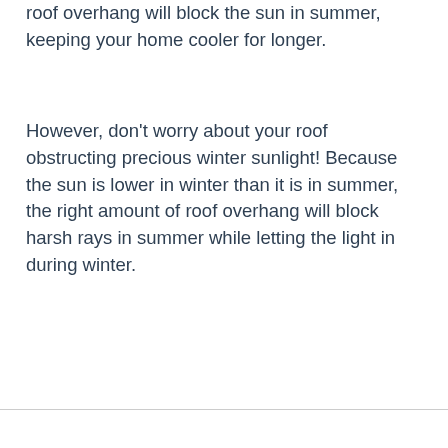roof overhang will block the sun in summer, keeping your home cooler for longer.
However, don't worry about your roof obstructing precious winter sunlight! Because the sun is lower in winter than it is in summer, the right amount of roof overhang will block harsh rays in summer while letting the light in during winter.